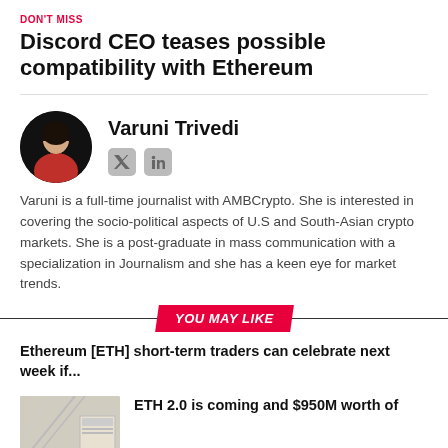DON'T MISS
Discord CEO teases possible compatibility with Ethereum
Varuni Trivedi
[Figure (photo): Portrait photo of Varuni Trivedi in circular crop]
Varuni is a full-time journalist with AMBCrypto. She is interested in covering the socio-political aspects of U.S and South-Asian crypto markets. She is a post-graduate in mass communication with a specialization in Journalism and she has a keen eye for market trends.
YOU MAY LIKE
Ethereum [ETH] short-term traders can celebrate next week if...
[Figure (photo): Thumbnail image for ETH 2.0 article]
ETH 2.0 is coming and $950M worth of